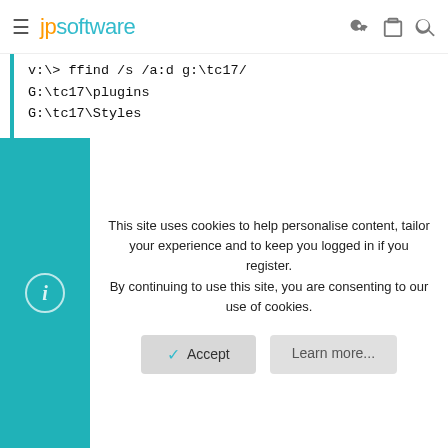jpsoftware
[Figure (screenshot): Terminal code block showing ffind commands and output: 'v:\> ffind /s /a:d g:\tc17/', 'G:\tc17\plugins', 'G:\tc17\Styles', '   2 files', 'v:\> ffind /s /a:d g:\tc17*', 'G:\tc17', 'G:\tc177', '   2 files']
This site uses cookies to help personalise content, tailor your experience and to keep you logged in if you register.
By continuing to use this site, you are consenting to our use of cookies.
Accept    Learn more...